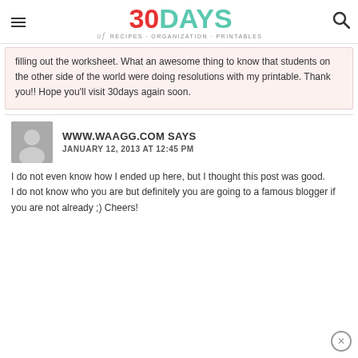30DAYS of RECIPES · ORGANIZATION · PRINTABLES
filling out the worksheet. What an awesome thing to know that students on the other side of the world were doing resolutions with my printable. Thank you!! Hope you'll visit 30days again soon.
WWW.WAAGG.COM SAYS
JANUARY 12, 2013 AT 12:45 PM
I do not even know how I ended up here, but I thought this post was good.
I do not know who you are but definitely you are going to a famous blogger if you are not already ;) Cheers!